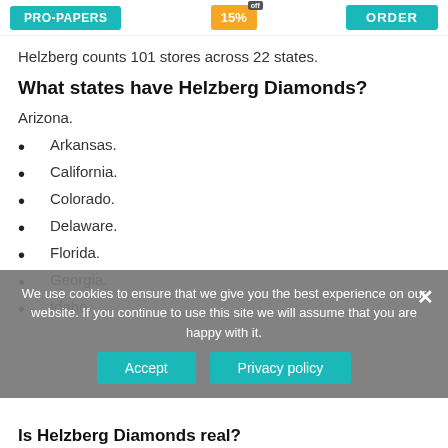PRO-PAPERS | 15% OFF | ORDER
Helzberg counts 101 stores across 22 states.
What states have Helzberg Diamonds?
Arizona.
Arkansas.
California.
Colorado.
Delaware.
Florida.
Georgia.
Idaho.
We use cookies to ensure that we give you the best experience on our website. If you continue to use this site we will assume that you are happy with it.
Is Helzberg Diamonds real?